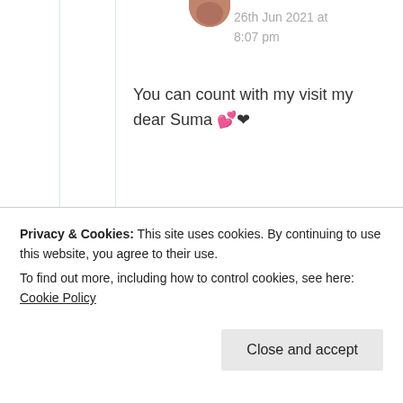26th Jun 2021 at 8:07 pm
You can count with my visit my dear Suma 💕❤
★ Liked by 1 person
Suma Reddy
26th Jun 2021 at
Privacy & Cookies: This site uses cookies. By continuing to use this website, you agree to their use. To find out more, including how to control cookies, see here: Cookie Policy
Close and accept